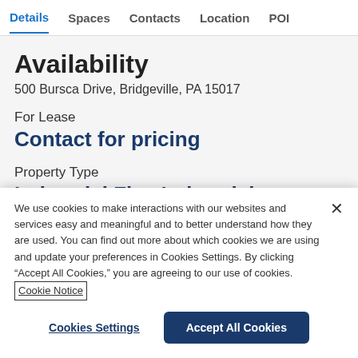Details  Spaces  Contacts  Location  POI
Availability
500 Bursca Drive, Bridgeville, PA 15017
For Lease
Contact for pricing
Property Type
Industrial  Flex  Industrial
We use cookies to make interactions with our websites and services easy and meaningful and to better understand how they are used. You can find out more about which cookies we are using and update your preferences in Cookies Settings. By clicking “Accept All Cookies,” you are agreeing to our use of cookies. Cookie Notice
Cookies Settings
Accept All Cookies